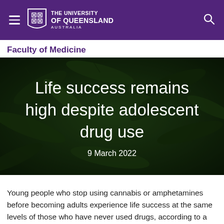The University of Queensland Australia
Faculty of Medicine
[Figure (photo): Close-up photograph of cannabis leaves forming a dark green background, with a large white headline text overlay reading 'Life success remains high despite adolescent drug use' and a date '9 March 2022' below.]
Life success remains high despite adolescent drug use
9 March 2022
Young people who stop using cannabis or amphetamines before becoming adults experience life success at the same levels of those who have never used drugs, according to a